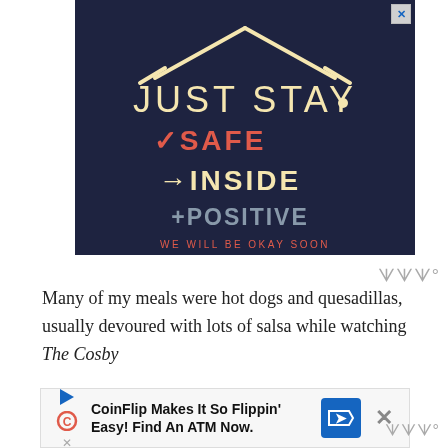[Figure (illustration): Dark navy blue advertisement banner showing 'JUST STAY' in cream/yellow hand-drawn lettering at top forming a house/roof shape, then '✓SAFE' in red, '→INSIDE' in cream/yellow, '+POSITIVE' in grey-blue, and 'WE WILL BE OKAY SOON' in small red text at bottom. A close/X button is in the top right corner.]
Many of my meals were hot dogs and quesadillas, usually devoured with lots of salsa while watching The Cosby
[Figure (infographic): Bottom advertisement banner for CoinFlip with play/C/X icons on left, text 'CoinFlip Makes It So Flippin' Easy! Find An ATM Now.' in center, blue directional sign logo on right, and X close button.]